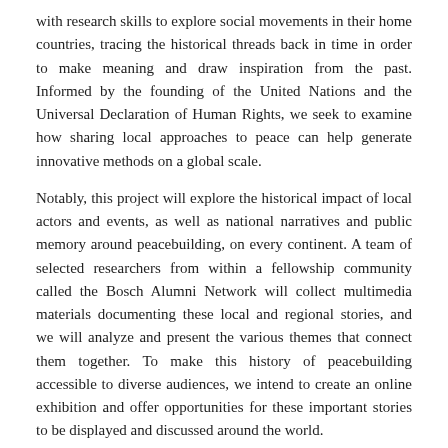with research skills to explore social movements in their home countries, tracing the historical threads back in time in order to make meaning and draw inspiration from the past. Informed by the founding of the United Nations and the Universal Declaration of Human Rights, we seek to examine how sharing local approaches to peace can help generate innovative methods on a global scale.
Notably, this project will explore the historical impact of local actors and events, as well as national narratives and public memory around peacebuilding, on every continent. A team of selected researchers from within a fellowship community called the Bosch Alumni Network will collect multimedia materials documenting these local and regional stories, and we will analyze and present the various themes that connect them together. To make this history of peacebuilding accessible to diverse audiences, we intend to create an online exhibition and offer opportunities for these important stories to be displayed and discussed around the world.
By connecting the past to the present—and the local with the global—we hope to better understand how "peace" has been a motivating force for the past 75 years.
Phase I: World War II @75 Dialogue Series, 2020
Phase II: Research Training Workshops, 2021